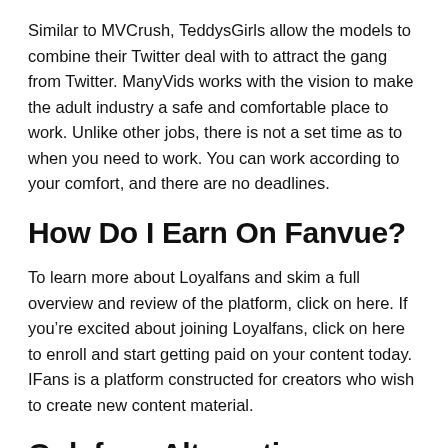Similar to MVCrush, TeddysGirls allow the models to combine their Twitter deal with to attract the gang from Twitter. ManyVids works with the vision to make the adult industry a safe and comfortable place to work. Unlike other jobs, there is not a set time as to when you need to work. You can work according to your comfort, and there are no deadlines.
How Do I Earn On Fanvue?
To learn more about Loyalfans and skim a full overview and review of the platform, click on here. If you’re excited about joining Loyalfans, click on here to enroll and start getting paid on your content today. IFans is a platform constructed for creators who wish to create new content material.
Onlyfans Alternatives: Fansly,